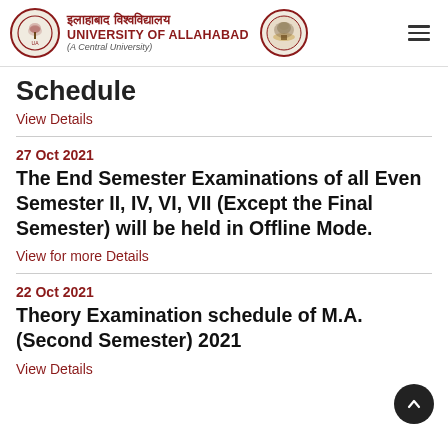इलाहाबाद विश्वविद्यालय UNIVERSITY OF ALLAHABAD (A Central University)
Schedule
View Details
27 Oct 2021
The End Semester Examinations of all Even Semester II, IV, VI, VII (Except the Final Semester) will be held in Offline Mode.
View for more Details
22 Oct 2021
Theory Examination schedule of M.A.(Second Semester) 2021
View Details